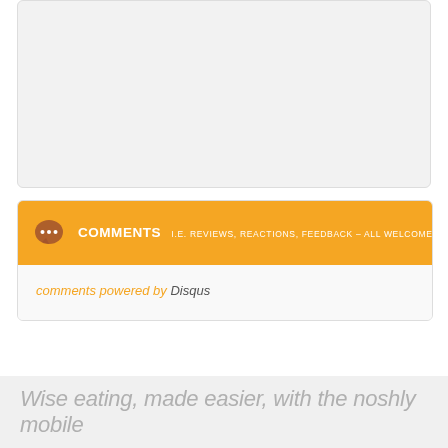[Figure (other): Gray placeholder box, light gray background with border]
COMMENTS I.E. REVIEWS, REACTIONS, FEEDBACK – ALL WELCOME!
comments powered by Disqus
Wise eating, made easier, with the noshly mobile